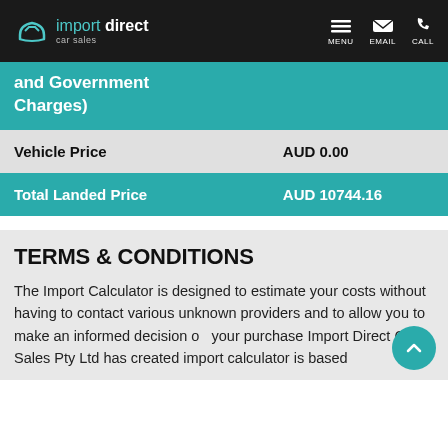import direct car sales — MENU EMAIL CALL
and Government Charges)
|  |  |
| --- | --- |
| Vehicle Price | AUD 0.00 |
| Total Landed Price | AUD 10744.16 |
TERMS & CONDITIONS
The Import Calculator is designed to estimate your costs without having to contact various unknown providers and to allow you to make an informed decision on your purchase Import Direct Car Sales Pty Ltd has created import calculator is based